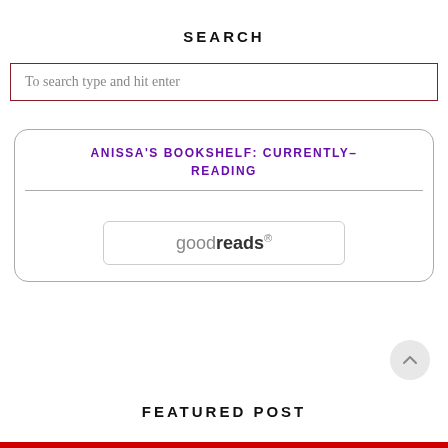SEARCH
To search type and hit enter
ANISSA'S BOOKSHELF: CURRENTLY-READING
[Figure (logo): goodreads logo inside a rounded rectangle button]
FEATURED POST